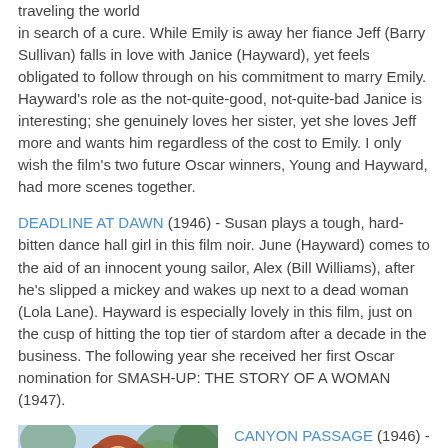traveling the world in search of a cure. While Emily is away her fiance Jeff (Barry Sullivan) falls in love with Janice (Hayward), yet feels obligated to follow through on his commitment to marry Emily. Hayward's role as the not-quite-good, not-quite-bad Janice is interesting; she genuinely loves her sister, yet she loves Jeff more and wants him regardless of the cost to Emily. I only wish the film's two future Oscar winners, Young and Hayward, had more scenes together.
DEADLINE AT DAWN (1946) - Susan plays a tough, hard-bitten dance hall girl in this film noir. June (Hayward) comes to the aid of an innocent young sailor, Alex (Bill Williams), after he's slipped a mickey and wakes up next to a dead woman (Lola Lane). Hayward is especially lovely in this film, just on the cusp of hitting the top tier of stardom after a decade in the business. The following year she received her first Oscar nomination for SMASH-UP: THE STORY OF A WOMAN (1947).
[Figure (photo): A photo of a woman with reddish hair outdoors with trees/sky in background]
CANYON PASSAGE (1946) - CANYON PASSAGE is an